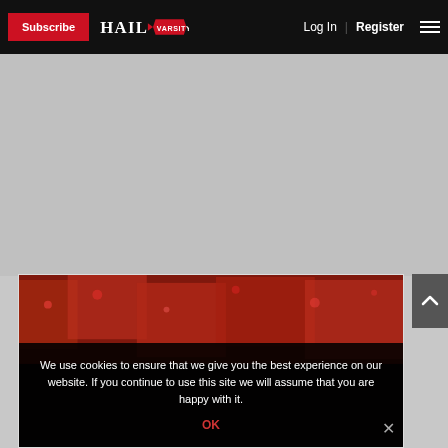Subscribe | HAIL VARSITY | Log In | Register
[Figure (photo): Gray advertisement placeholder area]
[Figure (photo): Stadium crowd photo showing fans in red at a sports event]
We use cookies to ensure that we give you the best experience on our website. If you continue to use this site we will assume that you are happy with it.
OK